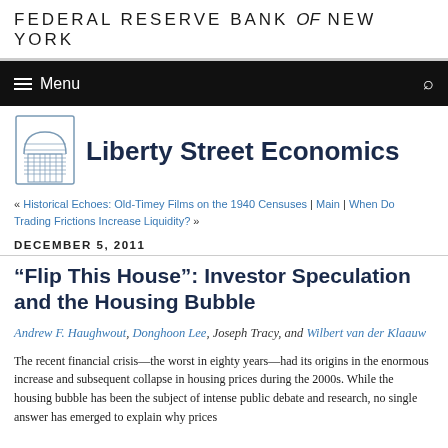FEDERAL RESERVE BANK of NEW YORK
Menu
Liberty Street Economics
« Historical Echoes: Old-Timey Films on the 1940 Censuses | Main | When Do Trading Frictions Increase Liquidity? »
DECEMBER 5, 2011
“Flip This House”: Investor Speculation and the Housing Bubble
Andrew F. Haughwout, Donghoon Lee, Joseph Tracy, and Wilbert van der Klaauw
The recent financial crisis—the worst in eighty years—had its origins in the enormous increase and subsequent collapse in housing prices during the 2000s. While the housing bubble has been the subject of intense public debate and research, no single answer has emerged to explain why prices